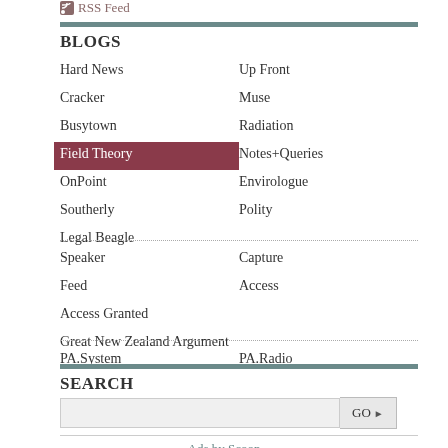RSS Feed
BLOGS
Hard News
Up Front
Cracker
Muse
Busytown
Radiation
Field Theory
Notes+Queries
OnPoint
Envirologue
Southerly
Polity
Legal Beagle
Speaker
Capture
Feed
Access
Access Granted
Great New Zealand Argument
PA.System
PA.Radio
SEARCH
GO
Ads by Scoop